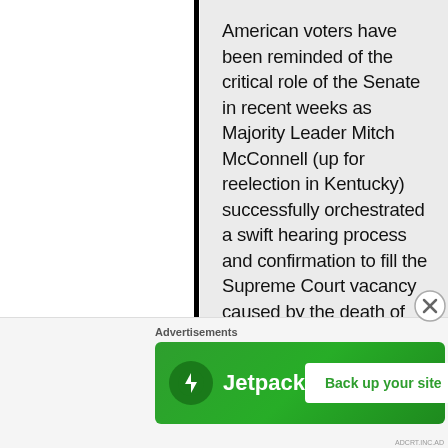American voters have been reminded of the critical role of the Senate in recent weeks as Majority Leader Mitch McConnell (up for reelection in Kentucky) successfully orchestrated a swift hearing process and confirmation to fill the Supreme Court vacancy caused by the death of long-serving
Advertisements
[Figure (other): Jetpack advertisement banner with green background, Jetpack logo on the left, and a 'Back up your site' button on the right.]